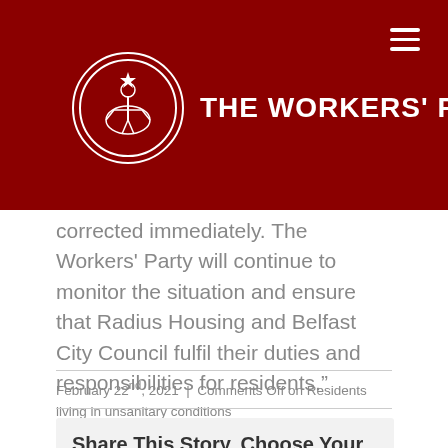THE WORKERS' PARTY
corrected immediately. The Workers' Party will continue to monitor the situation and ensure that Radius Housing and Belfast City Council fulfil their duties and responsibilities for residents.”
February 22nd, 2021  |  Comments Off on Residents living in unsanitary conditions
Share This Story, Choose Your Platform!